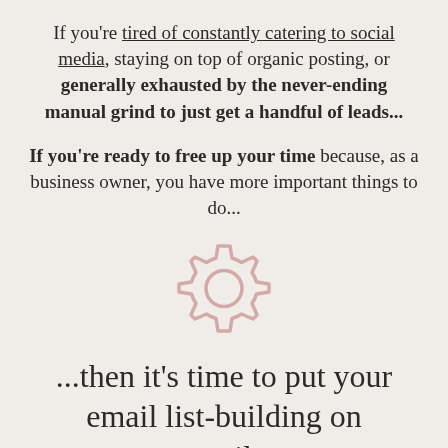If you're tired of constantly catering to social media, staying on top of organic posting, or generally exhausted by the never-ending manual grind to just get a handful of leads...
If you're ready to free up your time because, as a business owner, you have more important things to do...
[Figure (illustration): A gear/cog icon rendered in a light pinkish-rose outline style, centered on the page.]
...then it's time to put your email list-building on autopilot.